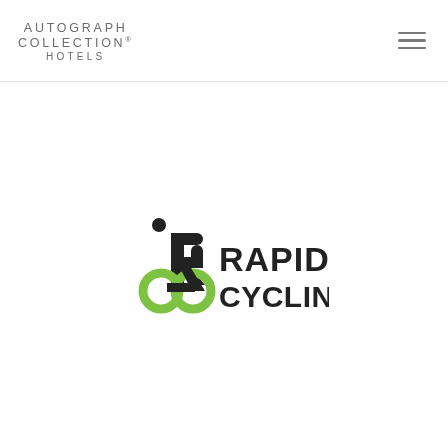AUTOGRAPH COLLECTION® HOTELS
[Figure (logo): Rapid Cycling logo with stylized R and cycling figure in black and green, with text RAPID CYCLING in bold black]